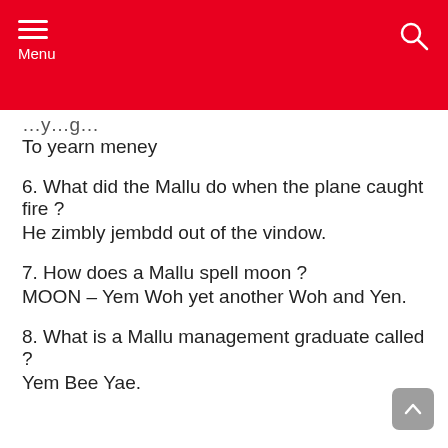Menu
To yearn meney
6. What did the Mallu do when the plane caught fire ? He zimbly jembdd out of the vindow.
7. How does a Mallu spell moon ? MOON – Yem Woh yet another Woh and Yen.
8. What is a Mallu management graduate called ? Yem Bee Yae.